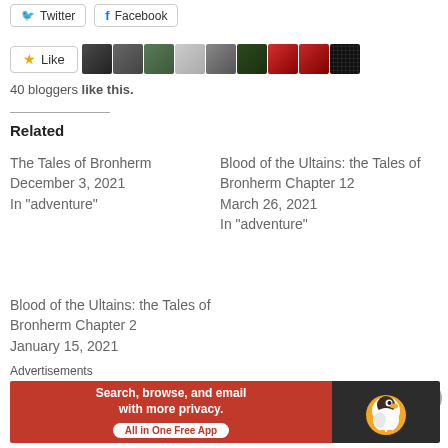[Figure (other): Social share buttons: Twitter and Facebook]
[Figure (other): Like button with star icon and 9 user avatar thumbnails]
40 bloggers like this.
Related
The Tales of Bronherm
December 3, 2021
In "adventure"
Blood of the Ultains: the Tales of Bronherm Chapter 12
March 26, 2021
In "adventure"
Blood of the Ultains: the Tales of Bronherm Chapter 2
January 15, 2021
Advertisements
[Figure (other): DuckDuckGo advertisement banner: Search, browse, and email with more privacy. All in One Free App]